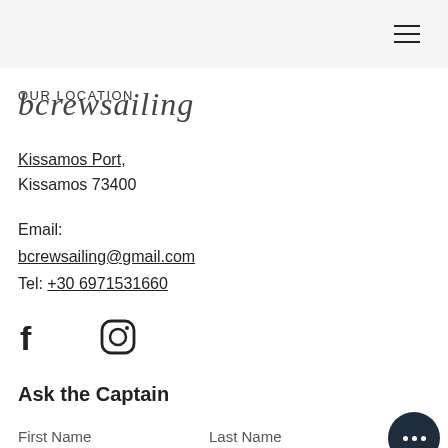Our Location / bcrewsailing
Kissamos Port, Kissamos 73400
Email:
bcrewsailing@gmail.com
Tel: +30 6971531660
[Figure (illustration): Facebook and Instagram social media icons]
Ask the Captain
First Name    Last Name